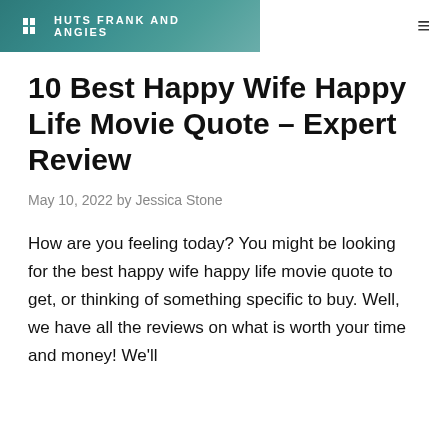HUTS FRANK AND ANGIES
10 Best Happy Wife Happy Life Movie Quote – Expert Review
May 10, 2022 by Jessica Stone
How are you feeling today? You might be looking for the best happy wife happy life movie quote to get, or thinking of something specific to buy. Well, we have all the reviews on what is worth your time and money! We'll